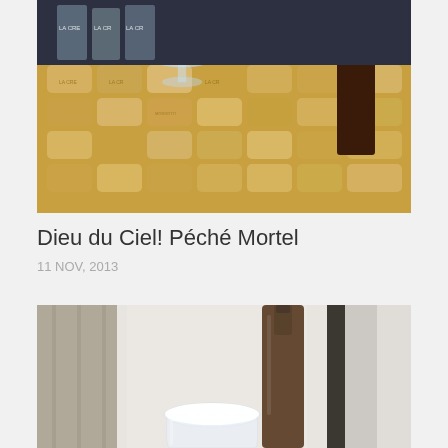[Figure (photo): Photo of wine corks arranged in a wooden tray with a glass goblet and a dark beer bottle with red label on top of the corks.]
Dieu du Ciel! Péché Mortel
11 NOV, 2013
[Figure (photo): Photo of a beer glass with white foam and a dark brown beer bottle standing next to it on a light background.]